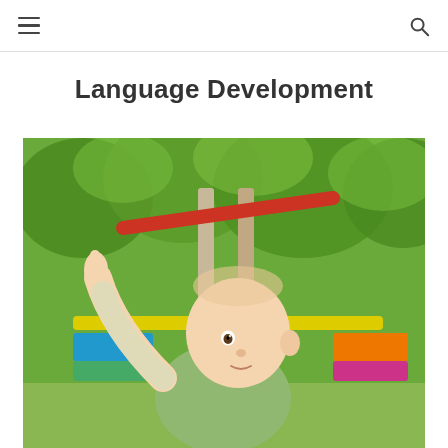[hamburger menu icon] [search icon]
Language Development
[Figure (photo): A baby in a light green outfit sitting outdoors at a playground, pointing upward with one hand, looking upward with curiosity. The background shows green trees and colorful playground equipment.]